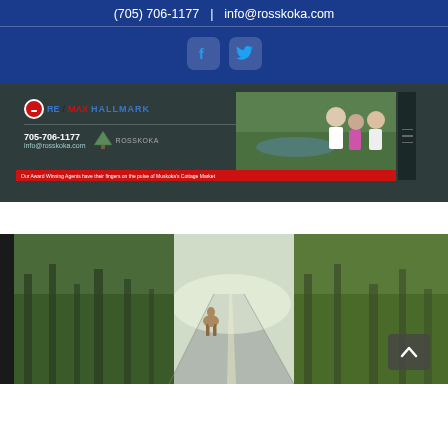(705) 706-1177 | info@rosskoka.com
[Figure (logo): Facebook and Twitter social media icon buttons]
[Figure (screenshot): Screenshot of rosskoka.com website showing RE/MAX Hallmark Rosskoka branding, phone 705-706-1177, email info@rosskoka.com, team photo, and red banner text]
[Figure (photo): Nature photo of a deer crossing a forest road with trees on both sides and a scroll-up button overlay]